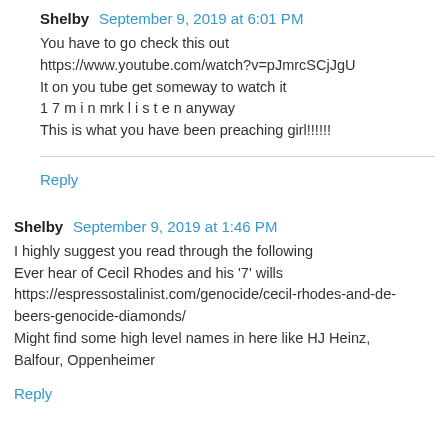Shelby  September 9, 2019 at 6:01 PM
You have to go check this out
https://www.youtube.com/watch?v=pJmrcSCjJgU
It on you tube get someway to watch it
1 7 m i n mrk l i s t e n anyway
This is what you have been preaching girl!!!!!!
Reply
Shelby  September 9, 2019 at 1:46 PM
I highly suggest you read through the following
Ever hear of Cecil Rhodes and his '7' wills
https://espressostalinist.com/genocide/cecil-rhodes-and-de-beers-genocide-diamonds/
Might find some high level names in here like HJ Heinz, Balfour, Oppenheimer
Reply